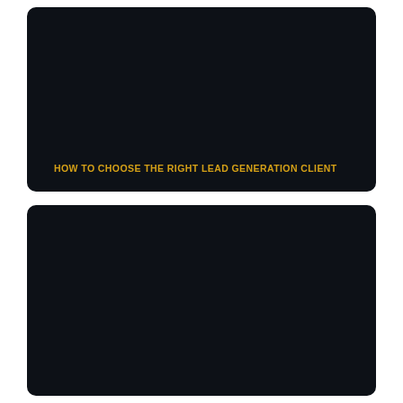[Figure (other): Dark navy rounded rectangle panel with gold/yellow text at bottom reading 'HOW TO CHOOSE THE RIGHT LEAD GENERATION CLIENT']
HOW TO CHOOSE THE RIGHT LEAD GENERATION CLIENT
[Figure (other): Dark navy rounded rectangle panel, blank/empty]